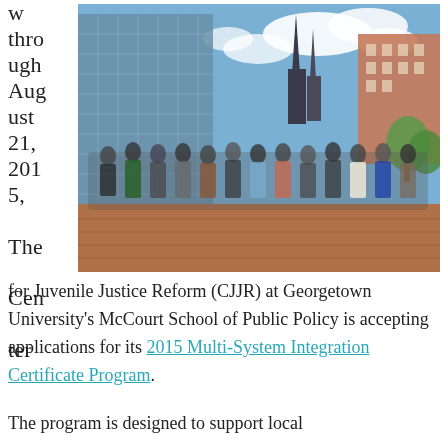w through August 21, 2015, The Center
[Figure (photo): Group photo of approximately 40 people standing outdoors in front of a modern glass building with a church spire and city buildings visible in the background, taken at Georgetown University.]
for Juvenile Justice Reform (CJJR) at Georgetown University's McCourt School of Public Policy is accepting applications for its 2015 Multi-System Integration Certificate Program.
The program is designed to support local